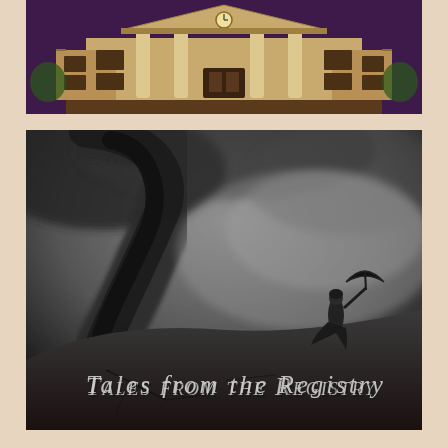[Figure (illustration): Illustrated cartoon-style mansion building on a deep purple background. The building is a large two-story classical structure with columns, a clock tower/pediment, and brown shuttered windows.]
[Figure (photo): Black and white dramatic photograph of a tornado on the left side and a person standing on a hill holding an umbrella on the right. Text overlay reads 'Tales from the Registry' in decorative gothic font.]